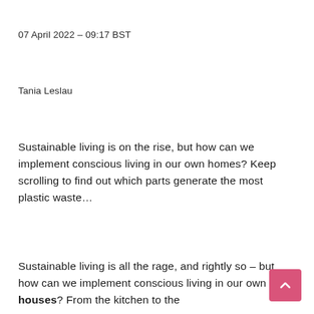07 April 2022 – 09:17 BST
Tania Leslau
Sustainable living is on the rise, but how can we implement conscious living in our own homes? Keep scrolling to find out which parts generate the most plastic waste…
Sustainable living is all the rage, and rightly so – but how can we implement conscious living in our own houses? From the kitchen to the